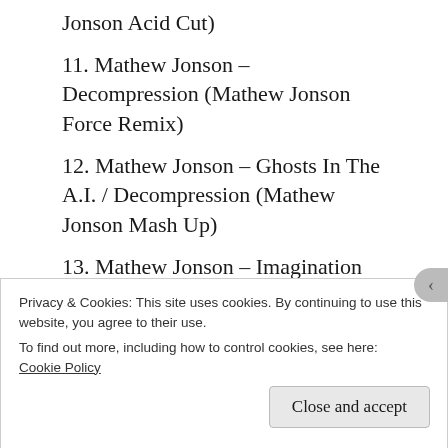Jonson Acid Cut)
11. Mathew Jonson – Decompression (Mathew Jonson Force Remix)
12. Mathew Jonson – Ghosts In The A.I. / Decompression (Mathew Jonson Mash Up)
13. Mathew Jonson – Imagination
14. Subb-an feat. S.Y.F. – Say No More (Mathew Jonson Remix)
15. Mathew Jonson – Cause Baby It Just Feels Right
16. Mathew Jonson – That Girl Can Dance
Privacy & Cookies: This site uses cookies. By continuing to use this website, you agree to their use.
To find out more, including how to control cookies, see here: Cookie Policy
Close and accept